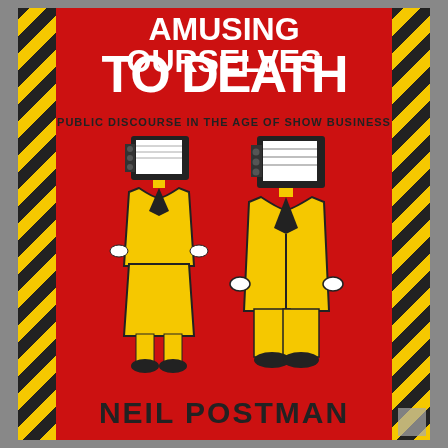[Figure (illustration): Book cover of 'Amusing Ourselves to Death' by Neil Postman. Red background with black and yellow diagonal hazard stripes on left and right borders. Two figures dressed in yellow suits with old-style television sets as heads stand in the center. Title text at top in white bold uppercase letters. Subtitle reads 'PUBLIC DISCOURSE IN THE AGE OF SHOW BUSINESS'. Author name 'NEIL POSTMAN' at bottom in large black bold letters.]
AMUSING OURSELVES TO DEATH
PUBLIC DISCOURSE IN THE AGE OF SHOW BUSINESS
NEIL POSTMAN